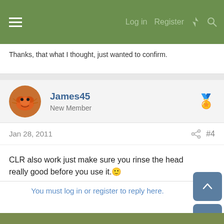Log in  Register
Thanks, that what I thought, just wanted to confirm.
James45
New Member
Jan 28, 2011  #4
CLR also work just make sure you rinse the head really good before you use it. 🙂
You must log in or register to reply here.